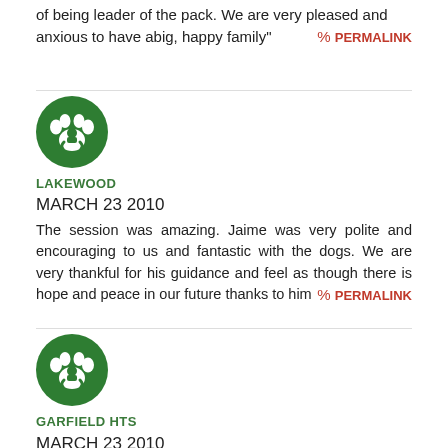of being leader of the pack. We are very pleased and anxious to have abig, happy family" % PERMALINK
[Figure (logo): Green circle with white paw print icon - Lakewood location avatar]
LAKEWOOD
MARCH 23 2010
The session was amazing. Jaime was very polite and encouraging to us and fantastic with the dogs. We are very thankful for his guidance and feel as though there is hope and peace in our future thanks to him % PERMALINK
[Figure (logo): Green circle with white paw print icon - Garfield Hts location avatar]
GARFIELD HTS
MARCH 23 2010